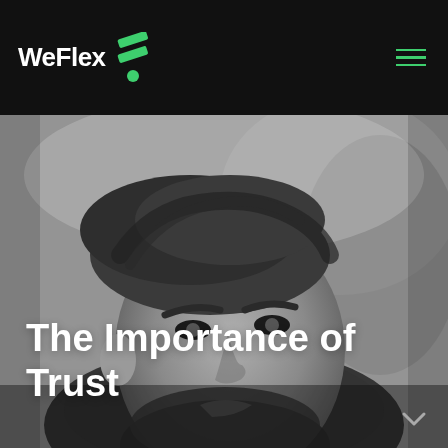WeFlex
[Figure (photo): Grayscale portrait photo of a young bearded man looking slightly to the right, with blurred outdoor background]
The Importance of Trust